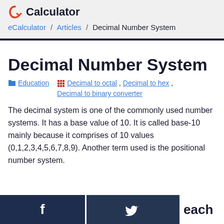eCalculator
eCalculator / Articles / Decimal Number System
Decimal Number System
Education   Decimal to octal , Decimal to hex , Decimal to binary converter
The decimal system is one of the commonly used number systems. It has a base value of 10. It is called base-10 mainly because it comprises of 10 values (0,1,2,3,4,5,6,7,8,9). Another term used is the positional number system.